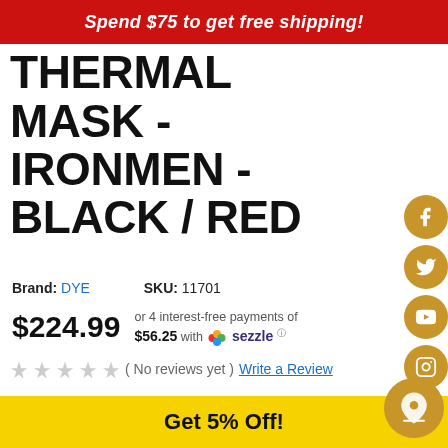Spend $75 to get free shipping!
DYE i5 THERMAL MASK - IRONMEN - BLACK / RED
Brand: DYE    SKU: 11701
$224.99   or 4 interest-free payments of $56.25 with Sezzle
( No reviews yet )  Write a Review
The Dye i5 Ironmen Paintball Mask in black red is the next evolution in the DYE goggle line and is also the next evolution in paintball eye and face protection technology. New groundbreaking features like the GSR pro-strap and e.VOKE communication system make the i5 the most advanced goggle system in the industry today. Engine
Get 5% Off!